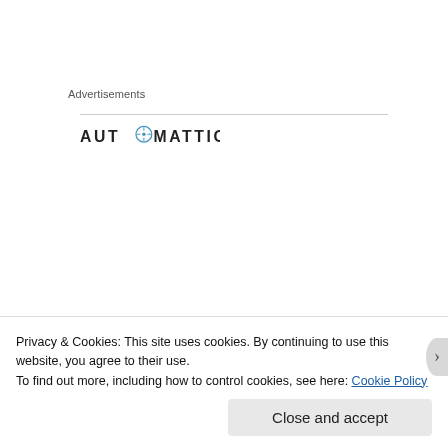Advertisements
[Figure (logo): Automattic logo — text 'AUTOMATTIC' with a compass icon replacing the O]
[Figure (infographic): Ad: bold headline 'Build a better web and a better world.' with a blue Apply button and a circular photo of a person on the right]
Privacy & Cookies: This site uses cookies. By continuing to use this website, you agree to their use.
To find out more, including how to control cookies, see here: Cookie Policy
Close and accept